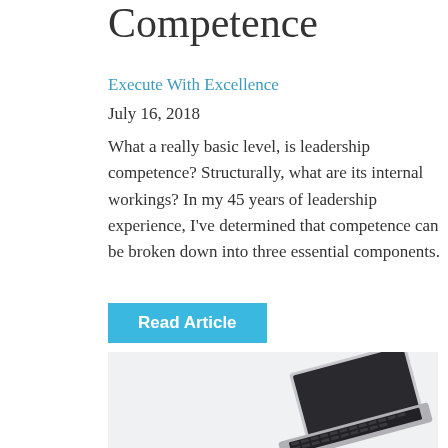Competence
Execute With Excellence
July 16, 2018
What a really basic level, is leadership competence? Structurally, what are its internal workings? In my 45 years of leadership experience, I've determined that competence can be broken down into three essential components.
Read Article
[Figure (photo): Laptop computer on a light grey surface, viewed from an angle, showing keyboard and screen]